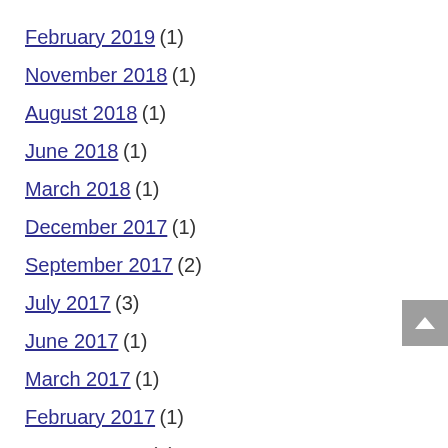February 2019 (1)
November 2018 (1)
August 2018 (1)
June 2018 (1)
March 2018 (1)
December 2017 (1)
September 2017 (2)
July 2017 (3)
June 2017 (1)
March 2017 (1)
February 2017 (1)
January 2017 (1)
October 2016 (1)